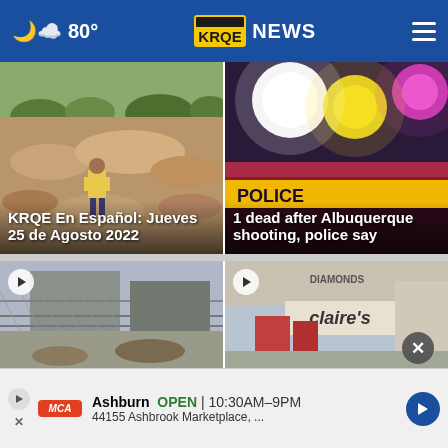80° KRQE NEWS
[Figure (photo): Construction site with worker in yellow vest, rocky terrain]
KRQE En Español: Jueves 25 de Agosto 2022
[Figure (photo): Police lights, bright flashing red and blue emergency lights]
1 dead after Albuquerque shooting, police say
[Figure (photo): Fence and building exterior, video play button overlay]
[Figure (photo): Claire's store exterior, video play button overlay]
Ashburn OPEN | 10:30AM–9PM 44155 Ashbrook Marketplace, ...